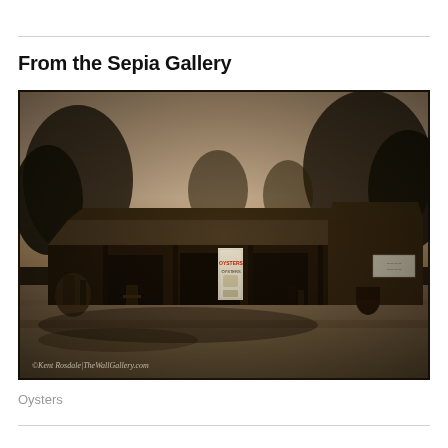From the Sepia Gallery
[Figure (photo): Sepia-toned photograph of a rustic roadside oyster stand/shop with a low wooden building, porch, trees in background, an 'OYSTERS' sign visible on the front, and cluttered items around the structure. Watermark reads: ©Kent Rosdale|TheWallGallery.com]
Oysters